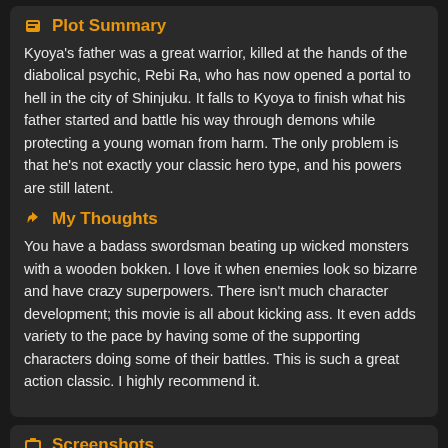Plot Summary
Kyoya's father was a great warrior, killed at the hands of the diabolical psychic, Rebi Ra, who has now opened a portal to hell in the city of Shinjuku. It falls to Kyoya to finish what his father started and battle his way through demons while protecting a young woman from harm. The only problem is that he's not exactly your classic hero type, and his powers are still latent.
My Thoughts
You have a badass swordsman beating up wicked monsters with a wooden bokken. I love it when enemies look so bizarre and have crazy superpowers. There isn't much character development; this movie is all about kicking ass. It even adds variety to the pace by having some of the supporting characters doing some of their battles. This is such a great action classic. I highly recommend it.
Screenshots